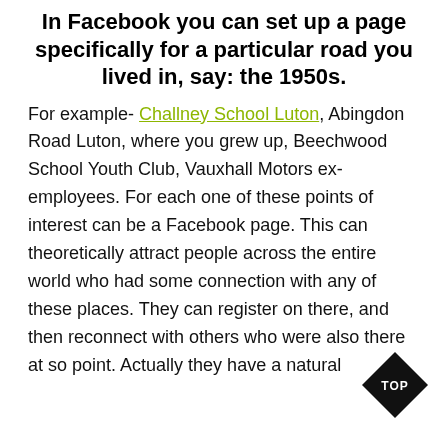In Facebook you can set up a page specifically for a particular road you lived in, say: the 1950s.
For example- Challney School Luton, Abingdon Road Luton, where you grew up, Beechwood School Youth Club, Vauxhall Motors ex-employees. For each one of these points of interest can be a Facebook page. This can theoretically attract people across the entire world who had some connection with any of these places. They can register on there, and then reconnect with others who were also there at some point. Actually they have a natural